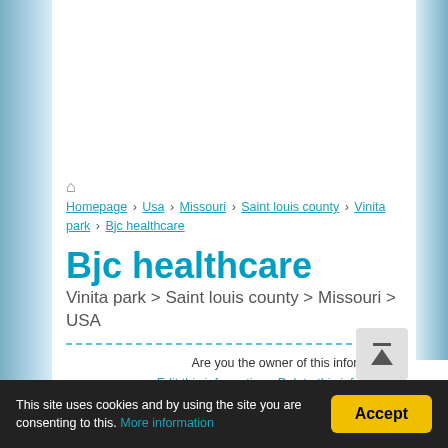Homepage > Usa > Missouri > Saint louis county > Vinita park > Bjc healthcare
Bjc healthcare
Vinita park > Saint louis county > Missouri > USA
Are you the owner of this information? Edit this information - Delete this information
There are specialties little known by people in Bjc Healthcare. If you need a specialist for your case, Bjc Healthcare it may be the hospital that will best offer you the medical service for you. Find out! Call, visit or visit their website for more details.
This site uses cookies and by using the site you are consenting to this. More information  Accept